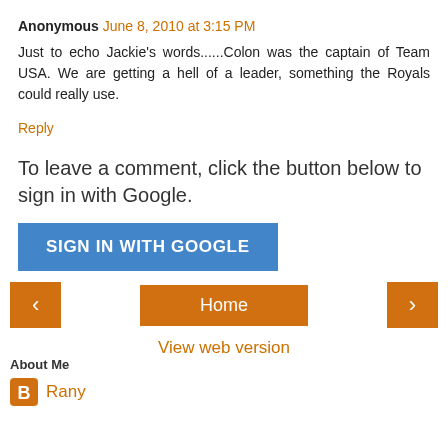Anonymous June 8, 2010 at 3:15 PM
Just to echo Jackie's words......Colon was the captain of Team USA. We are getting a hell of a leader, something the Royals could really use.
Reply
To leave a comment, click the button below to sign in with Google.
[Figure (other): Blue 'SIGN IN WITH GOOGLE' button]
[Figure (other): Navigation bar with left arrow, Home button, right arrow]
View web version
About Me
Rany